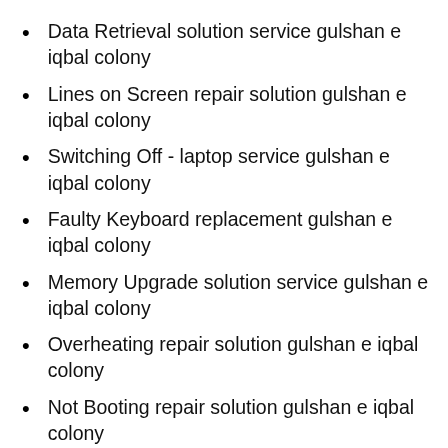Data Retrieval solution service gulshan e iqbal colony
Lines on Screen repair solution gulshan e iqbal colony
Switching Off - laptop service gulshan e iqbal colony
Faulty Keyboard replacement gulshan e iqbal colony
Memory Upgrade solution service gulshan e iqbal colony
Overheating repair solution gulshan e iqbal colony
Not Booting repair solution gulshan e iqbal colony
Screen repair solution gulshan e iqbal colony